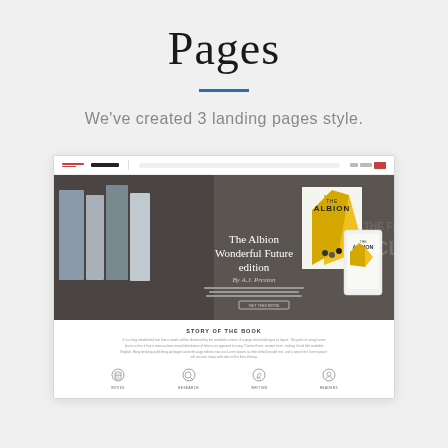Pages
We've created 3 landing pages style.
[Figure (screenshot): Screenshot of a landing page for 'The Albion Wonderful Future edition' book, showing a navigation bar, a hero image with book covers and a phone mockup, a 'Story of the Book' section, and a footer with icons for Books, Research, Writing, and Readers.]